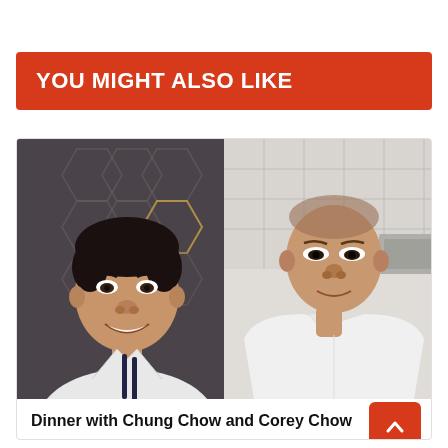YOU MIGHT ALSO LIKE
[Figure (photo): Two chefs side by side: left chef in white shirt with dark suspenders smiling, against dark hexagonal wall; right chef in white chef coat with shaved head, against kitchen background]
Dinner with Chung Chow and Corey Chow
part of the Air France Dinner Series